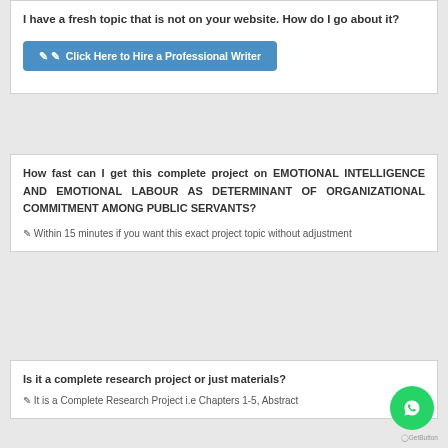I have a fresh topic that is not on your website. How do I go about it?
Click Here to Hire a Professional Writer
How fast can I get this complete project on EMOTIONAL INTELLIGENCE AND EMOTIONAL LABOUR AS DETERMINANT OF ORGANIZATIONAL COMMITMENT AMONG PUBLIC SERVANTS?
Within 15 minutes if you want this exact project topic without adjustment
Is it a complete research project or just materials?
It is a Complete Research Project i.e Chapters 1-5, Abstract